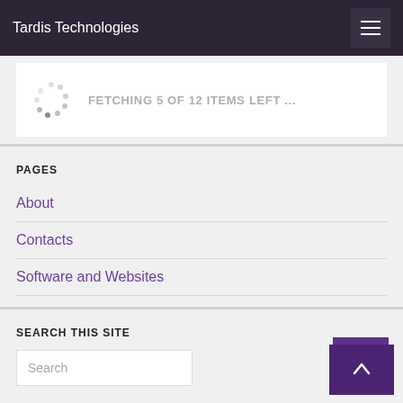Tardis Technologies
[Figure (infographic): Loading spinner with dots in a circular arrangement, gray colored]
FETCHING 5 OF 12 ITEMS LEFT ...
PAGES
About
Contacts
Software and Websites
SEARCH THIS SITE
Search